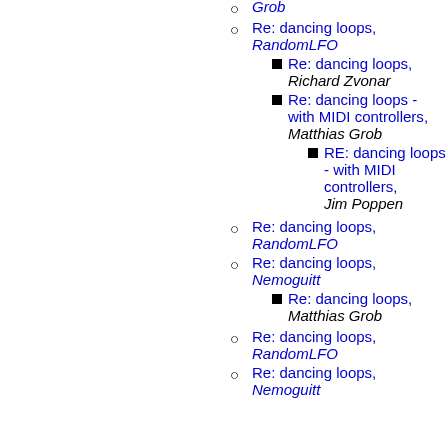Re: dancing loops, RandomLFO
Re: dancing loops, Richard Zvonar
Re: dancing loops - with MIDI controllers, Matthias Grob
RE: dancing loops - with MIDI controllers, Jim Poppen
Re: dancing loops, RandomLFO
Re: dancing loops, Nemoguitt
Re: dancing loops, Matthias Grob
Re: dancing loops, RandomLFO
Re: dancing loops, Nemoguitt